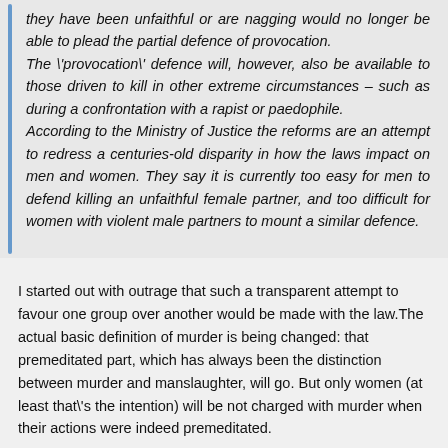they have been unfaithful or are nagging would no longer be able to plead the partial defence of provocation. The \'provocation\' defence will, however, also be available to those driven to kill in other extreme circumstances – such as during a confrontation with a rapist or paedophile. According to the Ministry of Justice the reforms are an attempt to redress a centuries-old disparity in how the laws impact on men and women. They say it is currently too easy for men to defend killing an unfaithful female partner, and too difficult for women with violent male partners to mount a similar defence.
I started out with outrage that such a transparent attempt to favour one group over another would be made with the law.The actual basic definition of murder is being changed: that premeditated part, which has always been the distinction between murder and manslaughter, will go. But only women (at least that\'s the intention) will be not charged with murder when their actions were indeed premeditated.